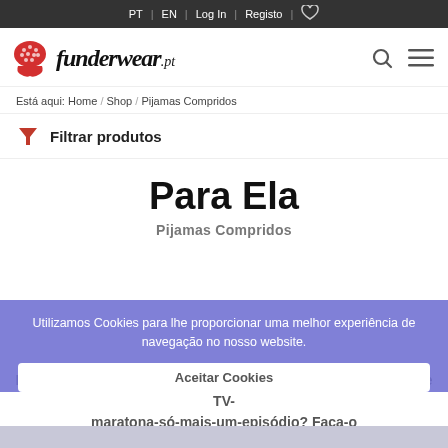PT | EN | Log In | Registo | ♡
[Figure (logo): Funderwear.pt logo with red geometric icon and italic serif logotype]
Está aqui: Home / Shop / Pijamas Compridos
🔻 Filtrar produtos
Para Ela
Pijamas Compridos
Utilizamos Cookies para lhe proporcionar uma melhor experiência de navegação no nosso website.
Aceitar Cookies
Pronta para fins-de-semana de boas vibrações e maratonas de TV- maratona-só-mais-um-episódio? Faça-o